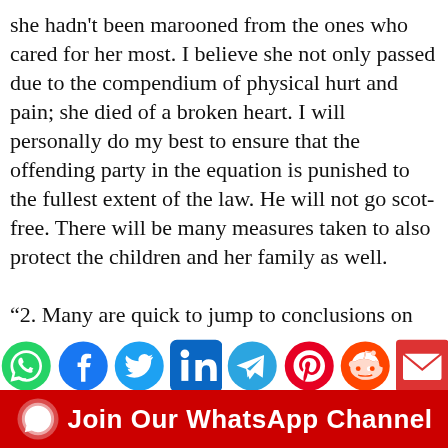she hadn't been marooned from the ones who cared for her most. I believe she not only passed due to the compendium of physical hurt and pain; she died of a broken heart. I will personally do my best to ensure that the offending party in the equation is punished to the fullest extent of the law. He will not go scot-free. There will be many measures taken to also protect the children and her family as well.

“2. Many are quick to jump to conclusions on things they know nothing about. The collective approximate shock we feel is not compared to that of the pain of people who have been so heavily involved both physically, financially, spiritually and even legally in trying to
[Figure (infographic): Row of social media share icons: WhatsApp (green), Facebook (blue), Twitter (light blue), LinkedIn (dark blue), Telegram (blue), Pinterest (red), Reddit (orange), Email (red envelope)]
[Figure (infographic): Red banner with WhatsApp icon and white bold text: Join Our WhatsApp Channel]